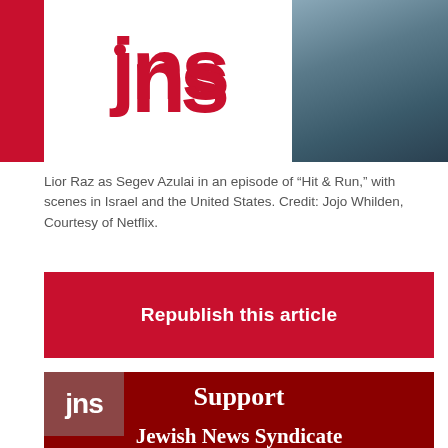JNS
[Figure (photo): Lior Raz as Segev Azulai in an episode of Hit & Run, with scenes in Israel and the United States]
Lior Raz as Segev Azulai in an episode of “Hit & Run,” with scenes in Israel and the United States. Credit: Jojo Whilden, Courtesy of Netflix.
Republish this article
[Figure (logo): JNS Jewish News Syndicate support banner with logo and Support Jewish News Syndicate heading]